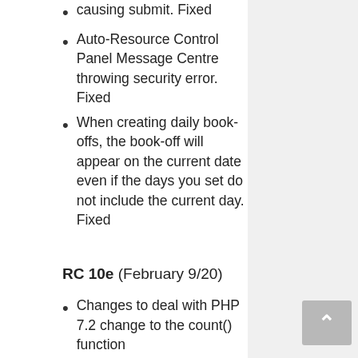causing submit. Fixed
Auto-Resource Control Panel Message Centre throwing security error. Fixed
When creating daily book-offs, the book-off will appear on the current date even if the days you set do not include the current day. Fixed
RC 10e (February 9/20)
Changes to deal with PHP 7.2 change to the count() function
Book-Dates that are unpublished continue to display. Fixed